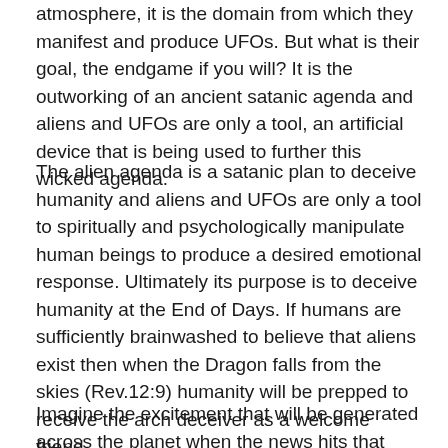atmosphere, it is the domain from which they manifest and produce UFOs. But what is their goal, the endgame if you will? It is the outworking of an ancient satanic agenda and aliens and UFOs are only a tool, an artificial device that is being used to further this wicked agenda.
The alien agenda is a satanic plan to deceive humanity and aliens and UFOs are only a tool to spiritually and psychologically manipulate human beings to produce a desired emotional response. Ultimately its purpose is to deceive humanity at the End of Days. If humans are sufficiently brainwashed to believe that aliens exist then when the Dragon falls from the skies (Rev.12:9) humanity will be prepped to receive the arch deceiver as a welcome friend.
Imagine the excitement that will be generated across the planet when the news hits that humanity has been